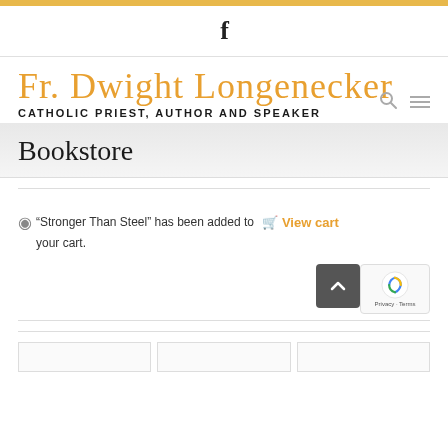f
Fr. Dwight Longenecker
CATHOLIC PRIEST, AUTHOR AND SPEAKER
Bookstore
"Stronger Than Steel" has been added to your cart.
View cart
Privacy · Terms